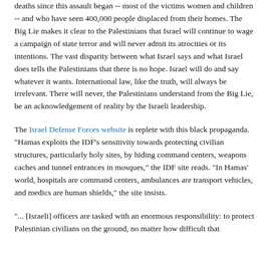deaths since this assault began -- most of the victims women and children -- and who have seen 400,000 people displaced from their homes. The Big Lie makes it clear to the Palestinians that Israel will continue to wage a campaign of state terror and will never admit its atrocities or its intentions. The vast disparity between what Israel says and what Israel does tells the Palestinians that there is no hope. Israel will do and say whatever it wants. International law, like the truth, will always be irrelevant. There will never, the Palestinians understand from the Big Lie, be an acknowledgement of reality by the Israeli leadership.
The Israel Defense Forces website is replete with this black propaganda. "Hamas exploits the IDF's sensitivity towards protecting civilian structures, particularly holy sites, by hiding command centers, weapons caches and tunnel entrances in mosques," the IDF site reads. "In Hamas' world, hospitals are command centers, ambulances are transport vehicles, and medics are human shields," the site insists.
"... [Israeli] officers are tasked with an enormous responsibility: to protect Palestinian civilians on the ground, no matter how difficult that